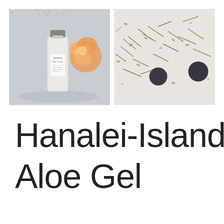[Figure (photo): A glass bottle labeled DETOX facial scrub with an orange rose and scattered granule scrub mixture on a light blue-grey surface]
[Figure (photo): Scattered dried herbs, seeds, and dark berries (juniper or elderberries) on a white background]
Hanalei- Island Aloe Gel